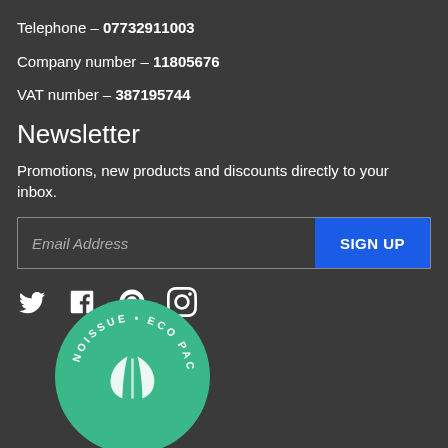Telephone – 07732911003
Company number – 11805676
VAT number – 387195744
Newsletter
Promotions, new products and discounts directly to your inbox.
[Figure (other): Email address input field with SIGN UP button]
[Figure (other): Social media icons: Twitter, Facebook, Pinterest, Instagram]
[Figure (logo): Noissue Eco Packaging circular badge in green with leaf icon]